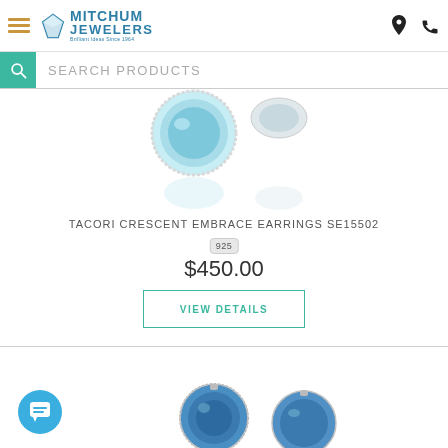[Figure (logo): Mitchum Jewelers logo with diamond icon and tagline 'Brilliant Ideas Since 1964']
SEARCH PRODUCTS
[Figure (photo): Tacori Crescent Embrace Earrings with blue topaz stones, shown with reflections, partially cropped at top]
TACORI CRESCENT EMBRACE EARRINGS SE15502
925
$450.00
VIEW DETAILS
[Figure (photo): Second pair of earrings with dark blue stones, partially visible at bottom of page]
[Figure (screenshot): Chat button widget (blue circle with chat icon) in lower left corner]